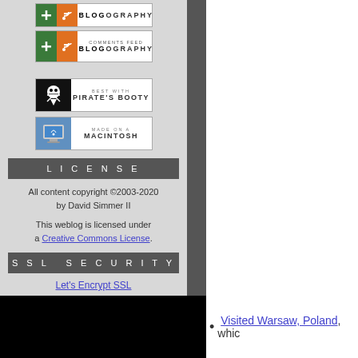[Figure (logo): Blogography feed badge with green plus icon and orange RSS icon]
[Figure (logo): Comments Feed Blogography badge with green plus icon and orange RSS icon]
[Figure (logo): Best with Pirate's Booty badge with skull icon on black background]
[Figure (logo): Made on a Macintosh badge with blue Mac finder icon]
LICENSE
All content copyright ©2003-2020 by David Simmer II
This weblog is licensed under a Creative Commons License.
SSL SECURITY
Let's Encrypt SSL
Visited Warsaw, Poland, whic...